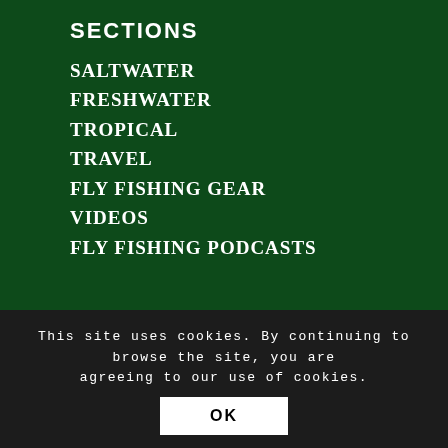SECTIONS
SALTWATER
FRESHWATER
TROPICAL
TRAVEL
FLY FISHING GEAR
VIDEOS
FLY FISHING PODCASTS
This site uses cookies. By continuing to browse the site, you are agreeing to our use of cookies.
OK
#PLASTIC THE BASKET